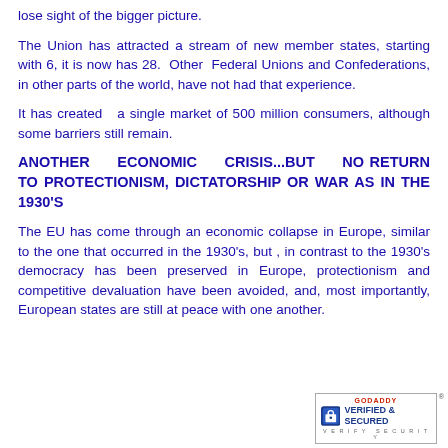lose sight of the bigger picture.
The Union has attracted a stream of new member states, starting with 6, it is now has 28. Other Federal Unions and Confederations, in other parts of the world, have not had that experience.
It has created a single market of 500 million consumers, although some barriers still remain.
ANOTHER ECONOMIC CRISIS...BUT NO RETURN TO PROTECTIONISM, DICTATORSHIP OR WAR AS IN THE 1930'S
The EU has come through an economic collapse in Europe, similar to the one that occurred in the 1930's, but , in contrast to the 1930's democracy has been preserved in Europe, protectionism and competitive devaluation have been avoided, and, most importantly, European states are still at peace with one another.